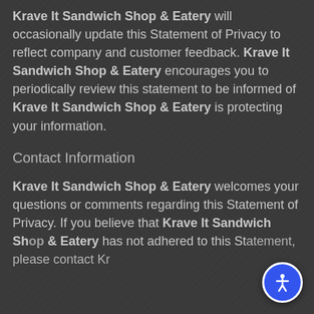Krave It Sandwich Shop & Eatery will occasionally update this Statement of Privacy to reflect company and customer feedback. Krave It Sandwich Shop & Eatery encourages you to periodically review this statement to be informed of Krave It Sandwich Shop & Eatery is protecting your information.
Contact Information
Krave It Sandwich Shop & Eatery welcomes your questions or comments regarding this Statement of Privacy. If you believe that Krave It Sandwich Shop & Eatery has not adhered to this Statement, please contact Krave...